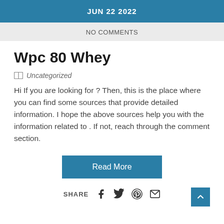JUN 22 2022
NO COMMENTS
Wpc 80 Whey
Uncategorized
Hi If you are looking for ? Then, this is the place where you can find some sources that provide detailed information. I hope the above sources help you with the information related to . If not, reach through the comment section.
Read More
SHARE